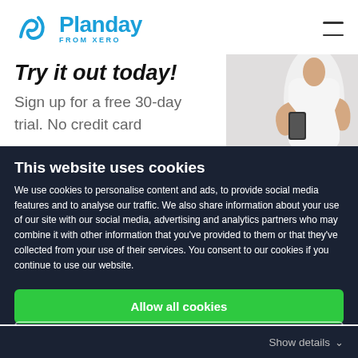Planday FROM XERO
Try it out today!
Sign up for a free 30-day trial. No credit card
[Figure (photo): Person in white shirt holding a smartphone]
This website uses cookies
We use cookies to personalise content and ads, to provide social media features and to analyse our traffic. We also share information about your use of our site with our social media, advertising and analytics partners who may combine it with other information that you've provided to them or that they've collected from your use of their services. You consent to our cookies if you continue to use our website.
Allow all cookies
Use necessary cookies only
Show details